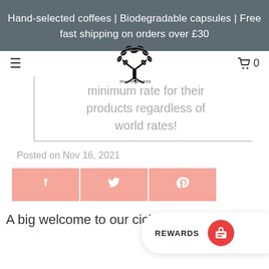Hand-selected coffees | Biodegradable capsules | Free fast shipping on orders over £30
[Figure (logo): Moving Beans logo — a tree made of coffee beans with text 'moving beans' below]
minimum rate for their products regardless of world rates!
Posted on Nov 16, 2021
[Figure (infographic): Social share buttons: Facebook (f), Twitter (bird), Pinterest (p) in salmon/pink color]
A big welcome to our c…icle